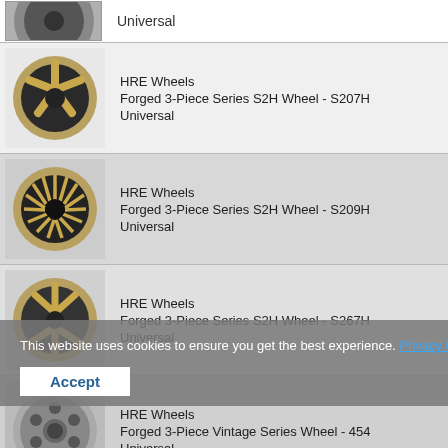Universal
HRE Wheels
Forged 3-Piece Series S2H Wheel - S207H
Universal
HRE Wheels
Forged 3-Piece Series S2H Wheel - S209H
Universal
HRE Wheels
Forged 3-Piece Series S2H Wheel - S267H
Universal
HRE Wheels
Forged 3-Piece Vintage Series Wheel - 454
Universal
HRE Wheels
Forged 3-Piece Vintage Series Wheel - 501
Universal
This website uses cookies to ensure you get the best experience. Privacy Policy
Accept